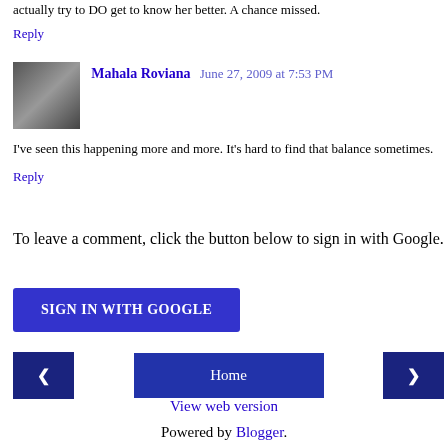actually try to DO get to know her better. A chance missed.
Reply
Mahala Roviana  June 27, 2009 at 7:53 PM
I've seen this happening more and more. It's hard to find that balance sometimes.
Reply
To leave a comment, click the button below to sign in with Google.
[Figure (other): Sign in with Google button]
[Figure (other): Navigation buttons: left arrow, Home, right arrow]
View web version
Powered by Blogger.